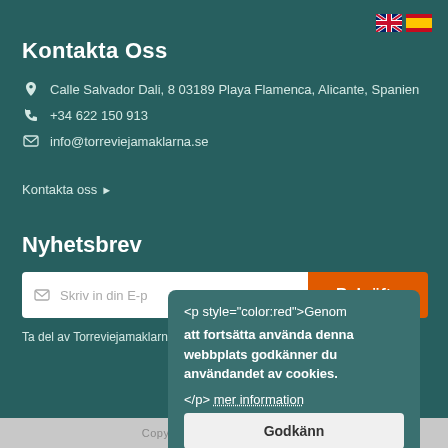[Figure (illustration): UK and Spain flag icons in top right corner]
Kontakta Oss
Calle Salvador Dali, 8 03189 Playa Flamenca, Alicante, Spanien
+34 622 150 913
info@torreviejamaklarna.se
Kontakta oss ▸
Nyhetsbrev
Skriv in din E-p... [email input] Bekräfta [button]
Ta del av Torreviejamaklarna... med de senast inkomna objekten.
<p style="color:red">Genom att fortsätta använda denna webbplats godkänner du användandet av cookies.
</p> mer information
Godkänn
Copyright - Torreviejamaklarna